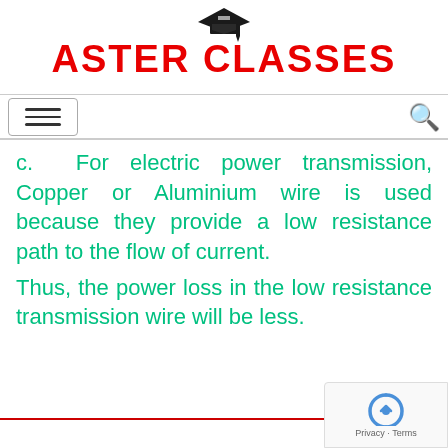[Figure (logo): Aster Classes logo with graduation cap icon and red bold text 'ASTER CLASSES']
[Figure (other): Navigation bar with hamburger menu button on left and search icon on right]
c.  For electric power transmission, Copper or Aluminium wire is used because they provide a low resistance path to the flow of current.
Thus, the power loss in the low resistance transmission wire will be less.